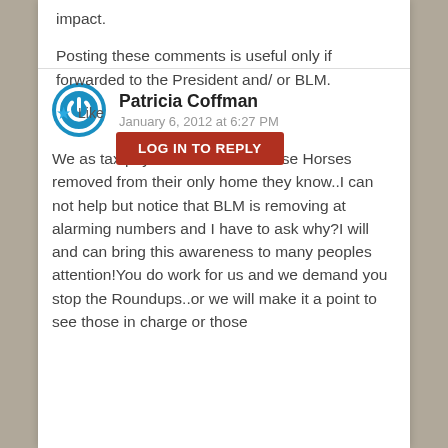impact.
Posting these comments is useful only if forwarded to the President and/ or BLM.
Like
LOG IN TO REPLY
Patricia Coffman
January 6, 2012 at 6:27 PM
We as tax payers do not want these Horses removed from their only home they know..I can not help but notice that BLM is removing at alarming numbers and I have to ask why?I will and can bring this awareness to many peoples attention!You do work for us and we demand you stop the Roundups..or we will make it a point to see those in charge or those